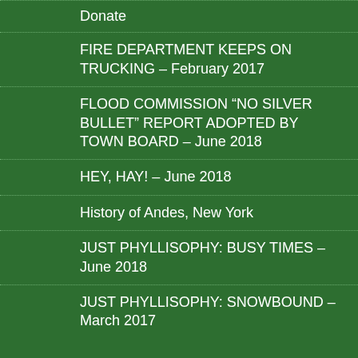Donate
FIRE DEPARTMENT KEEPS ON TRUCKING – February 2017
FLOOD COMMISSION “NO SILVER BULLET” REPORT ADOPTED BY TOWN BOARD – June 2018
HEY, HAY! – June 2018
History of Andes, New York
JUST PHYLLISOPHY: BUSY TIMES – June 2018
JUST PHYLLISOPHY: SNOWBOUND – March 2017